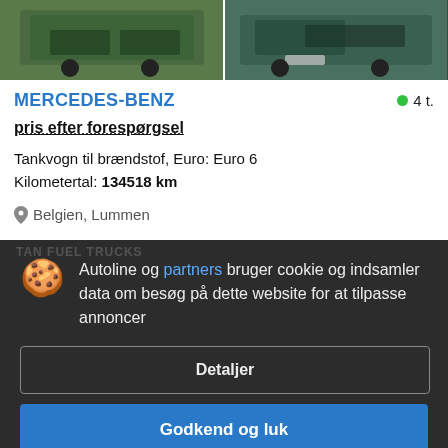[Figure (photo): Two photos of a green Mercedes-Benz tank truck side by side]
MERCEDES-BENZ
4 t.
pris efter forespørgsel
Tankvogn til brændstof, Euro: Euro 6
Kilometertal: 134518 km
Belgien, Lummen
Autoline og partners bruger cookie og indsamler data om besøg på dette website for at tilpasse annoncer
Detaljer
Godkend og luk